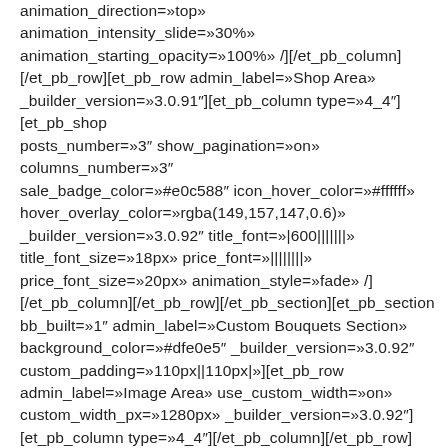animation_direction=»top» animation_intensity_slide=»30%» animation_starting_opacity=»100%» /][/et_pb_column][/et_pb_row][et_pb_row admin_label=»Shop Area» _builder_version=»3.0.91″][et_pb_column type=»4_4″][et_pb_shop posts_number=»3″ show_pagination=»on» columns_number=»3″ sale_badge_color=»#e0c588″ icon_hover_color=»#ffffff» hover_overlay_color=»rgba(149,157,147,0.6)» _builder_version=»3.0.92″ title_font=»|600|||||||» title_font_size=»18px» price_font=»||||||||» price_font_size=»20px» animation_style=»fade» /][/et_pb_column][/et_pb_row][/et_pb_section][et_pb_section bb_built=»1″ admin_label=»Custom Bouquets Section» background_color=»#dfe0e5″ _builder_version=»3.0.92″ custom_padding=»110px||110px|»][et_pb_row admin_label=»Image Area» use_custom_width=»on» custom_width_px=»1280px» _builder_version=»3.0.92″][et_pb_column type=»4_4″][/et_pb_column][/et_pb_row][et_pb_row admin_label=»Title Area» _builder_version=»3.0.89″ locked=»off»][et_pb_column type=»4_4″][et_pb_text admin_label=»Title» _builder_version=»3.0.92″ text_font=»||||||||» header_font=»||||||||»